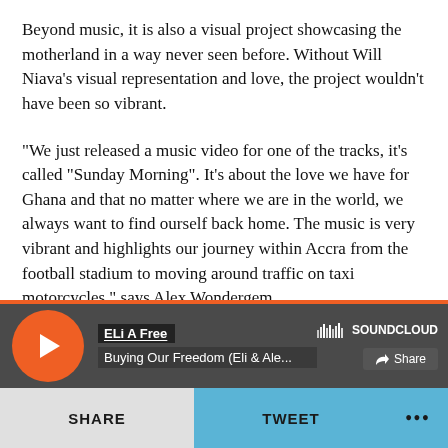Beyond music, it is also a visual project showcasing the motherland in a way never seen before. Without Will Niava's visual representation and love, the project wouldn't have been so vibrant.
“We just released a music video for one of the tracks, it’s called “Sunday Morning”. It’s about the love we have for Ghana and that no matter where we are in the world, we always want to find ourself back home. The music is very vibrant and highlights our journey within Accra from the football stadium to moving around traffic on taxi motorcycles,” says Alex Wondergem
[Figure (screenshot): SoundCloud embedded player showing 'ELi A Free' artist and track 'Buying Our Freedom (Eli & Ale...' with orange play button on dark background]
SHARE   TWEET   ...